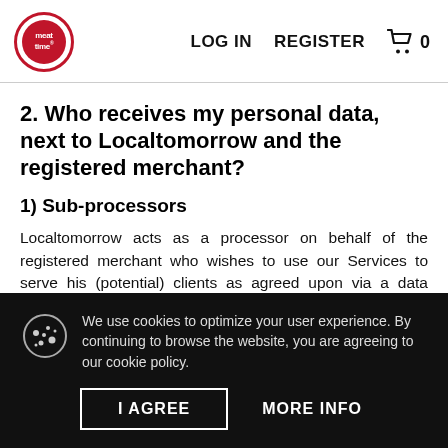LOG IN  REGISTER  0
2. Who receives my personal data, next to Localtomorrow and the registered merchant?
1) Sub-processors
Localtomorrow acts as a processor on behalf of the registered merchant who wishes to use our Services to serve his (potential) clients as agreed upon via a data processing agreement between
We use cookies to optimize your user experience. By continuing to browse the website, you are agreeing to our cookie policy.